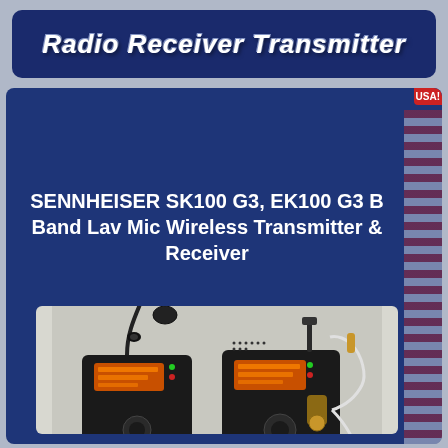Radio Receiver Transmitter
SENNHEISER SK100 G3, EK100 G3 B Band Lav Mic Wireless Transmitter & Receiver
[Figure (photo): Photo of two Sennheiser wireless audio devices: a bodypack transmitter (SK100 G3) with lavalier microphone attached, and a receiver (EK100 G3) with gold TRS cable. Both units are black with orange LCD displays and Sennheiser branding. Ebay watermark visible.]